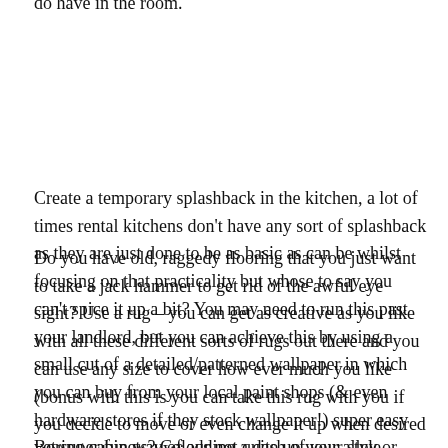do have in the room.
Create a temporary splashback in the kitchen, a lot of times rental kitchens don't have any sort of splashback as they are just done to be as basic as can be whilst focusing on that practicality but whose to say you can't spice it up a bit? You may need to run this past your landlord, but you can achieve this by using a small cut of a detailed/patterned wallpaper in which you can buy from your local paint shops (& even hardware stores if they stock wallpaper!) super easy yet super fun way of adding a dash of your style, temporally.
Do you have old, raggedy flooring that you just want to take a jack hammer to get rid of the awful eye sight? Use a rug – you can get as creative as you like with all these different sorts of rugs out there and you can use any size to cover how ever much you like (bonus with this is you can take this rug with you if you decide to move or even change it up when desired with another rug! Winning)
Boring cabinets? Colour not quite up your alley or isn't